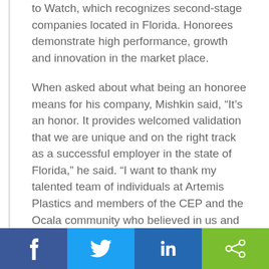to Watch, which recognizes second-stage companies located in Florida. Honorees demonstrate high performance, growth and innovation in the market place.

When asked about what being an honoree means for his company, Mishkin said, “It’s an honor. It provides welcomed validation that we are unique and on the right track as a successful employer in the state of Florida,” he said. “I want to thank my talented team of individuals at Artemis Plastics and members of the CEP and the Ocala community who believed in us and supported our vision.”
[Figure (infographic): Social media share bar with four buttons: Facebook (dark blue), Twitter (light blue), LinkedIn (medium blue), Share (green)]